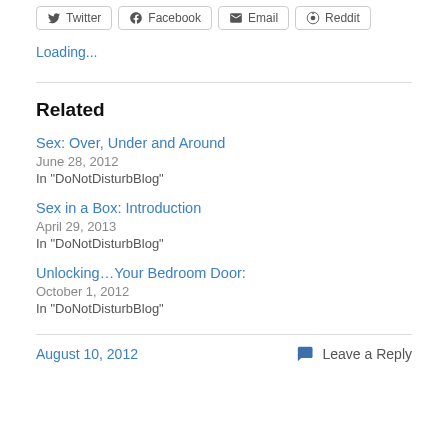[Figure (screenshot): Share buttons row: Twitter, Facebook, Email, Reddit]
Loading...
Related
Sex: Over, Under and Around
June 28, 2012
In "DoNotDisturbBlog"
Sex in a Box: Introduction
April 29, 2013
In "DoNotDisturbBlog"
Unlocking…Your Bedroom Door:
October 1, 2012
In "DoNotDisturbBlog"
August 10, 2012    Leave a Reply